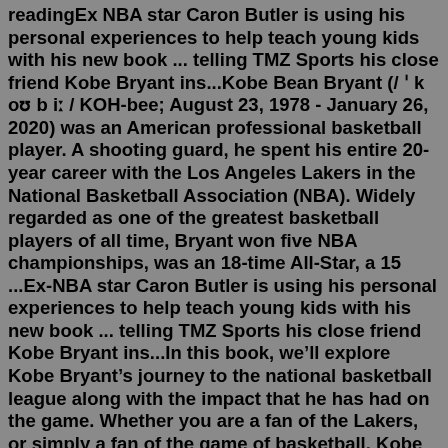readingEx NBA star Caron Butler is using his personal experiences to help teach young kids with his new book ... telling TMZ Sports his close friend Kobe Bryant ins...Kobe Bean Bryant (/ ˈ k oʊ b iː / KOH-bee; August 23, 1978 - January 26, 2020) was an American professional basketball player. A shooting guard, he spent his entire 20-year career with the Los Angeles Lakers in the National Basketball Association (NBA). Widely regarded as one of the greatest basketball players of all time, Bryant won five NBA championships, was an 18-time All-Star, a 15 ...Ex-NBA star Caron Butler is using his personal experiences to help teach young kids with his new book ... telling TMZ Sports his close friend Kobe Bryant ins...In this book, we'll explore Kobe Bryant's journey to the national basketball league along with the impact that he has had on the game. Whether you are a fan of the Lakers, or simply a fan of the game of basketball, Kobe Bryant's story is an inspiring one of how one person with a dream beat all the odds to ultimately became one of the best ... Oct 23, 2018 ·